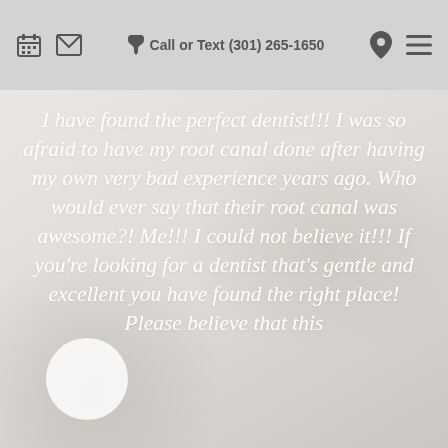Call or Text (301) 265-1650
I have found the perfect dentist!!! I was so afraid to have my root canal done after having my own very bad experience years ago. Who would ever say that their root canal was awesome?! Me!!! I could not believe it!!! If you're looking for a dentist that's gentle and excellent you have found the right place! Please believe that this